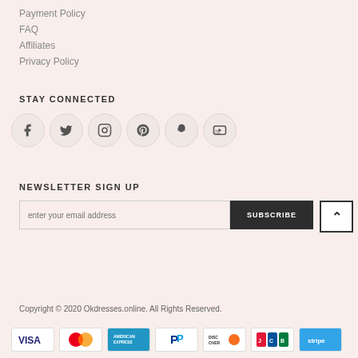Payment Policy
FAQ
Affiliates
Privacy Policy
STAY CONNECTED
[Figure (infographic): Six social media icons in circular buttons: Facebook, Twitter, Instagram, Pinterest, Snapchat, YouTube]
NEWSLETTER SIGN UP
enter your email address
SUBSCRIBE
Copyright © 2020 Okdresses.online. All Rights Reserved.
[Figure (infographic): Payment method icons: VISA, Mastercard, American Express, PayPal, Discover, JCB, Stripe]